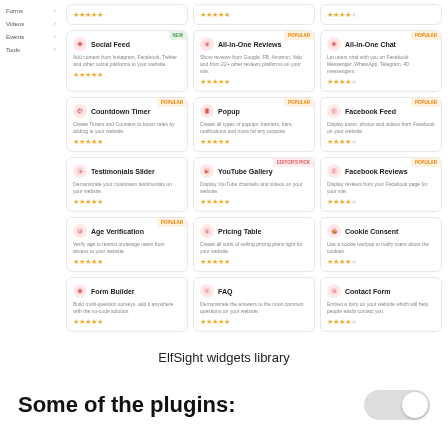[Figure (screenshot): ElfSight widgets library interface showing a grid of plugin cards including Social Feed, All-in-One Reviews, All-in-One Chat, Countdown Timer, Popup, Facebook Feed, Testimonials Slider, YouTube Gallery, Facebook Reviews, Age Verification, Pricing Table, Cookie Consent, Form Builder, FAQ, Contact Form]
ElfSight widgets library
Some of the plugins: